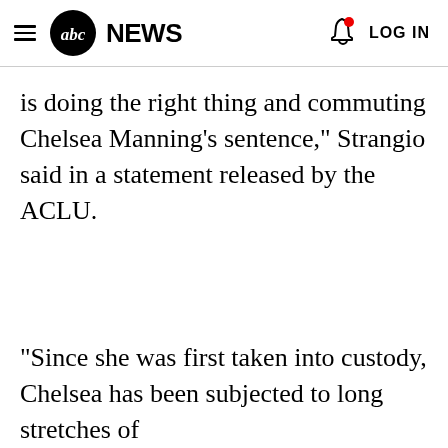abc NEWS  LOG IN
is doing the right thing and commuting Chelsea Manning's sentence," Strangio said in a statement released by the ACLU.
"Since she was first taken into custody, Chelsea has been subjected to long stretches of